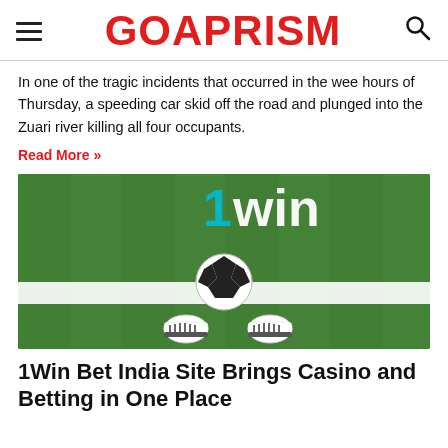GOAPRISM
In one of the tragic incidents that occurred in the wee hours of Thursday, a speeding car skid off the road and plunged into the Zuari river killing all four occupants.
Read More »
[Figure (photo): A soccer ball on a green turf field near a white boundary line, with a player's feet in white cleats visible, and the 1win logo on the upper portion of the image.]
1Win Bet India Site Brings Casino and Betting in One Place